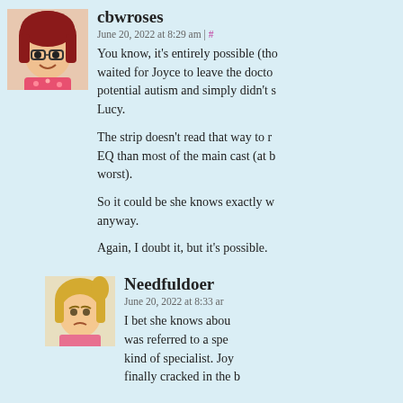[Figure (illustration): Avatar of cbwroses - anime-style girl with dark red hair, glasses, floral shirt]
cbwroses
June 20, 2022 at 8:29 am | #
You know, it's entirely possible (tho... waited for Joyce to leave the docto... potential autism and simply didn't s... Lucy.

The strip doesn't read that way to m... EQ than most of the main cast (at b... worst).

So it could be she knows exactly w... anyway.

Again, I doubt it, but it's possible.
[Figure (illustration): Avatar of Needfuldoer - anime-style blonde girl with worried expression, pink top]
Needfuldoer
June 20, 2022 at 8:33 am
I bet she knows abou... was referred to a spe... kind of specialist. Joy... finally cracked in the b...
[Figure (illustration): Avatar of cbwroses - same as first, anime-style girl with dark red hair, glasses]
cbwroses
June 20, 2022 at 11:...
Not really?